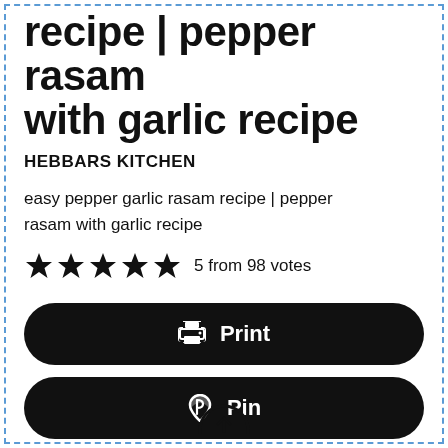recipe | pepper rasam with garlic recipe
HEBBARS KITCHEN
easy pepper garlic rasam recipe | pepper rasam with garlic recipe
★★★★★ 5 from 98 votes
[Figure (screenshot): Three black rounded buttons: Print, Pin, Email with corresponding icons]
[Figure (illustration): Partial icon at bottom center of page]